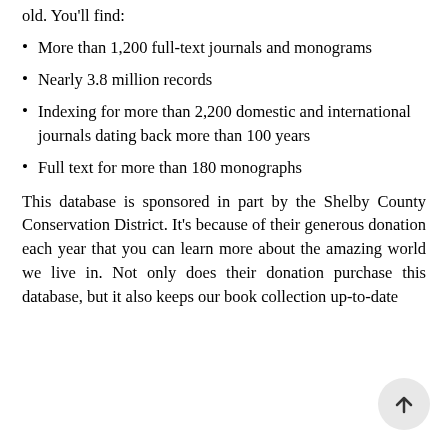old. You'll find:
More than 1,200 full-text journals and monograms
Nearly 3.8 million records
Indexing for more than 2,200 domestic and international journals dating back more than 100 years
Full text for more than 180 monographs
This database is sponsored in part by the Shelby County Conservation District. It's because of their generous donation each year that you can learn more about the amazing world we live in. Not only does their donation purchase this database, but it also keeps our book collection up-to-date